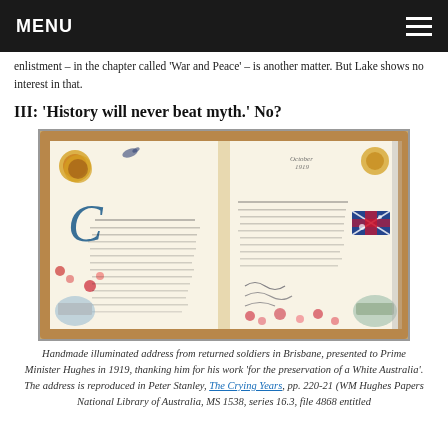MENU
enlistment – in the chapter called 'War and Peace' – is another matter. But Lake shows no interest in that.
III: 'History will never beat myth.' No?
[Figure (photo): Handmade illuminated address book open showing decorative painted pages with Australian flags, floral motifs, text inscriptions, and illustrations, housed in a brown leather cover.]
Handmade illuminated address from returned soldiers in Brisbane, presented to Prime Minister Hughes in 1919, thanking him for his work 'for the preservation of a White Australia'. The address is reproduced in Peter Stanley, The Crying Years, pp. 220-21 (WM Hughes Papers National Library of Australia, MS 1538, series 16.3, file 4868 entitled